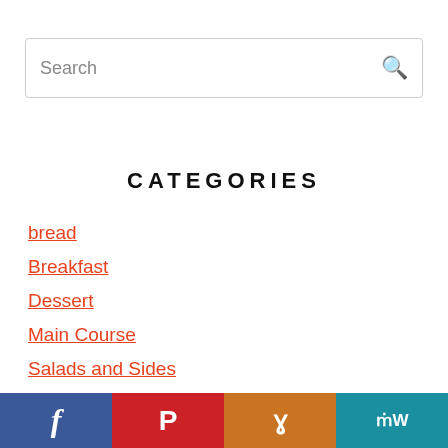[Figure (other): Search bar with text 'Search' and a magnifying glass icon on the right]
CATEGORIES
bread
Breakfast
Dessert
Main Course
Salads and Sides
[Figure (other): Social media share bar with four icons: Facebook (blue), Pinterest (red), Yummly (orange), MealWrapper (teal)]